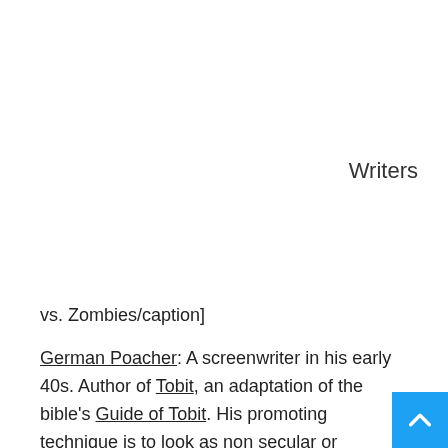Writers
vs. Zombies/caption]
German Poacher: A screenwriter in his early 40s. Author of Tobit, an adaptation of the bible's Guide of Tobit. His promoting technique is to look as non secular or